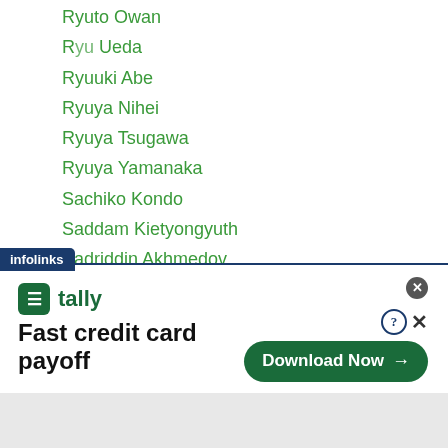Ryuto Owan
Ryu Ueda
Ryuuki Abe
Ryuya Nihei
Ryuya Tsugawa
Ryuya Yamanaka
Sachiko Kondo
Saddam Kietyongyuth
Sadriddin Akhmedov
Sadudee Tor Buamas
Saemi Hanagata
Saenganan Sithsaithong
Sagadat Rakhmankulov
Saitama Super Arena
Saken Pulatov
Salatiel Amit
[Figure (screenshot): Advertisement banner for Tally app — 'Fast credit card payoff' with Download Now button, shown above an infolinks tab.]